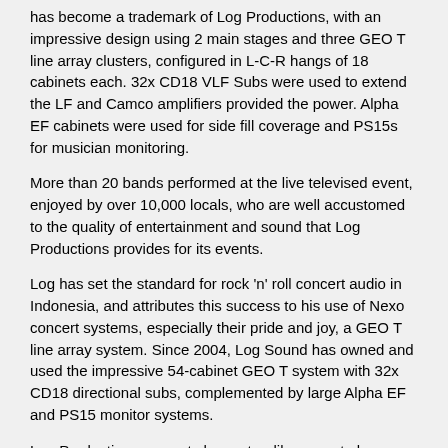has become a trademark of Log Productions, with an impressive design using 2 main stages and three GEO T line array clusters, configured in L-C-R hangs of 18 cabinets each. 32x CD18 VLF Subs were used to extend the LF and Camco amplifiers provided the power. Alpha EF cabinets were used for side fill coverage and PS15s for musician monitoring.
More than 20 bands performed at the live televised event, enjoyed by over 10,000 locals, who are well accustomed to the quality of entertainment and sound that Log Productions provides for its events.
Log has set the standard for rock 'n' roll concert audio in Indonesia, and attributes this success to his use of Nexo concert systems, especially their pride and joy, a GEO T line array system. Since 2004, Log Sound has owned and used the impressive 54-cabinet GEO T system with 32x CD18 directional subs, complemented by large Alpha EF and PS15 monitor systems.
Log Productions concerts have steadily grown to become the largest in the business, and in 2004, the company decided it was time to set and maintain the standard for live rock 'n' roll concert sound in Indonesia.
This called for a system that was capable of high power coverage outdoors, delivering clean HF, smooth hi-mid range and very powerful LF to sub. His choice of NEXO GEO T was perfect, and Log is not shy in admitting that the system has played a major role in his live concert production success.
NEXO systems Specialist Scott Mason was sent to service and perform an upgrade